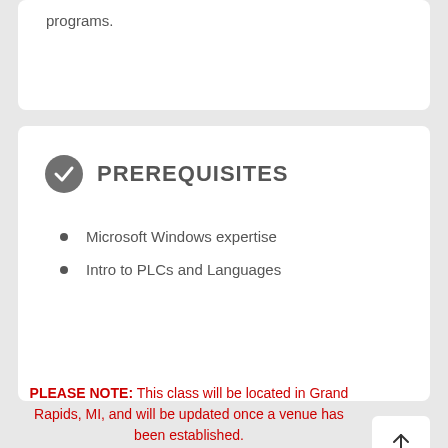programs.
PREREQUISITES
Microsoft Windows expertise
Intro to PLCs and Languages
PLEASE NOTE: This class will be located in Grand Rapids, MI, and will be updated once a venue has been established.